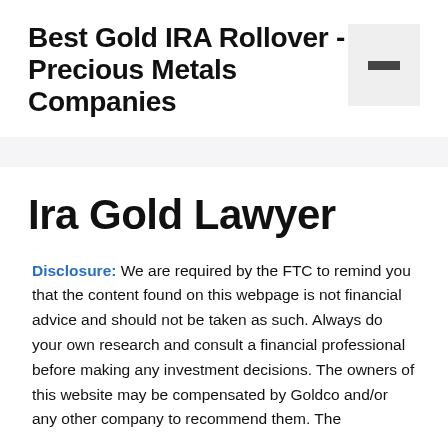Best Gold IRA Rollover - Precious Metals Companies
Ira Gold Lawyer
Disclosure: We are required by the FTC to remind you that the content found on this webpage is not financial advice and should not be taken as such. Always do your own research and consult a financial professional before making any investment decisions. The owners of this website may be compensated by Goldco and/or any other company to recommend them. The